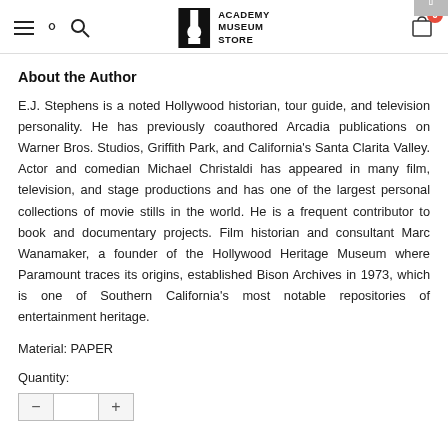Academy Museum Store
About the Author
E.J. Stephens is a noted Hollywood historian, tour guide, and television personality. He has previously coauthored Arcadia publications on Warner Bros. Studios, Griffith Park, and California's Santa Clarita Valley. Actor and comedian Michael Christaldi has appeared in many film, television, and stage productions and has one of the largest personal collections of movie stills in the world. He is a frequent contributor to book and documentary projects. Film historian and consultant Marc Wanamaker, a founder of the Hollywood Heritage Museum where Paramount traces its origins, established Bison Archives in 1973, which is one of Southern California's most notable repositories of entertainment heritage.
Material: PAPER
Quantity: